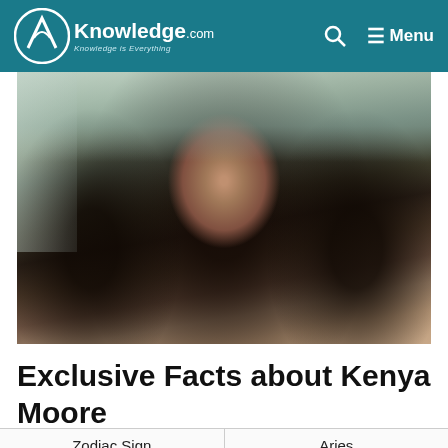AKnowledge.com Knowledge is Everything
[Figure (photo): A woman with long curly dark hair wearing a necklace, seated in a bright modern living room setting.]
Exclusive Facts about Kenya Moore
| Zodiac Sign | Aries |
| --- | --- |